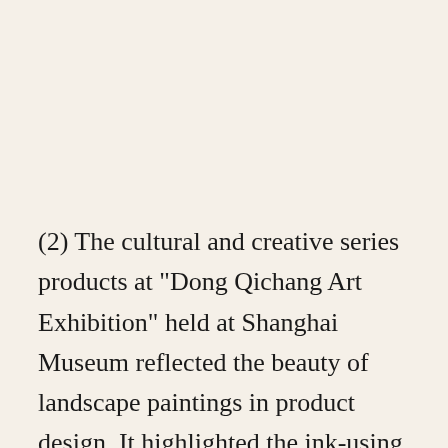(2) The cultural and creative series products at "Dong Qichang Art Exhibition" held at Shanghai Museum reflected the beauty of landscape paintings in product design. It highlighted the ink-using techniques specially adopted in Dong Qichang's ink-wash paintings, such as splash-ink and cherish-ink. The works featured ink of different density and wetness in patural matching and were able to create profoundness